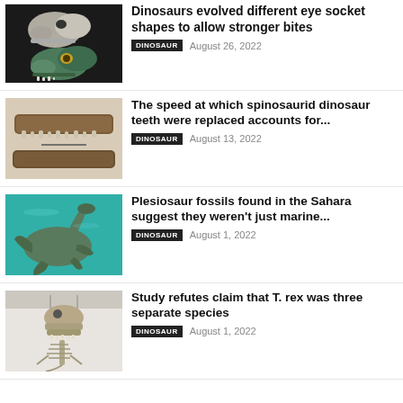[Figure (photo): Two dinosaur skull models, top skull whitish-grey, bottom skull green/teal with visible eye]
Dinosaurs evolved different eye socket shapes to allow stronger bites
DINOSAUR   August 26, 2022
[Figure (photo): Fossil jaw bones of a spinosaurid dinosaur, brown coloured]
The speed at which spinosaurid dinosaur teeth were replaced accounts for...
DINOSAUR   August 13, 2022
[Figure (photo): Underwater illustration of a plesiosaur swimming in teal water]
Plesiosaur fossils found in the Sahara suggest they weren't just marine...
DINOSAUR   August 1, 2022
[Figure (photo): T. rex skeleton mounted in museum, viewed from below]
Study refutes claim that T. rex was three separate species
DINOSAUR   August 1, 2022